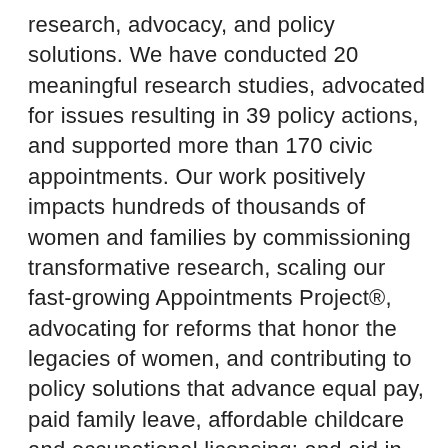research, advocacy, and policy solutions. We have conducted 20 meaningful research studies, advocated for issues resulting in 39 policy actions, and supported more than 170 civic appointments. Our work positively impacts hundreds of thousands of women and families by commissioning transformative research, scaling our fast-growing Appointments Project®, advocating for reforms that honor the legacies of women, and contributing to policy solutions that advance equal pay, paid family leave, affordable childcare and occupational licensing; and aid in fighting against sexual harassment. Unite with us. Visit united-we.org [www.united-we.org] and connect with @UnitedWeEmpower on Facebook, Twitter, LinkedIn and Instagram.